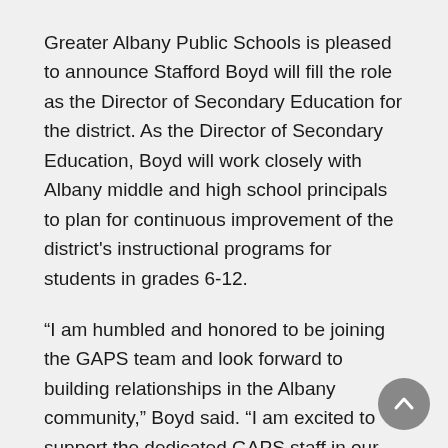Greater Albany Public Schools is pleased to announce Stafford Boyd will fill the role as the Director of Secondary Education for the district. As the Director of Secondary Education, Boyd will work closely with Albany middle and high school principals to plan for continuous improvement of the district's instructional programs for students in grades 6-12.
“I am humbled and honored to be joining the GAPS team and look forward to building relationships in the Albany community,” Boyd said. “I am excited to support the dedicated GAPS staff in our service to students and families.”
Boyd joins the Albany district from North Clackamas Schools, where he most recently has served as the program administrator for the district’s K-12 virtual online program. In this role, he was responsible for almost 1,000